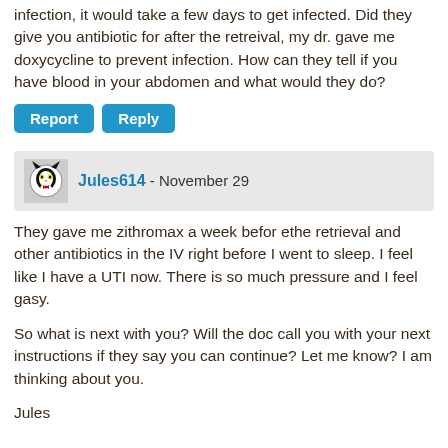infection, it would take a few days to get infected. Did they give you antibiotic for after the retreival, my dr. gave me doxycycline to prevent infection. How can they tell if you have blood in your abdomen and what would they do?
Report | Reply (buttons)
Jules614 - November 29
They gave me zithromax a week befor ethe retrieval and other antibiotics in the IV right before I went to sleep. I feel like I have a UTI now. There is so much pressure and I feel gasy.
So what is next with you? Will the doc call you with your next instructions if they say you can continue? Let me know? I am thinking about you.
Jules